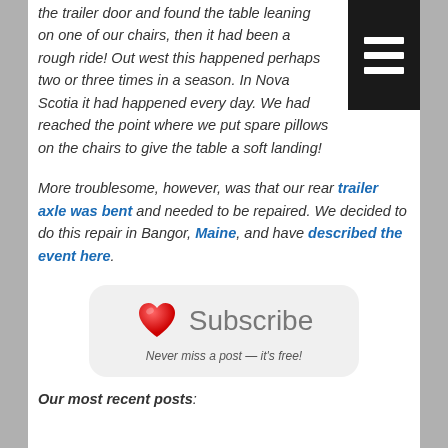the trailer door and found the table leaning on one of our chairs, then it had been a rough ride! Out west this happened perhaps two or three times in a season. In Nova Scotia it had happened every day. We had reached the point where we put spare pillows on the chairs to give the table a soft landing!
More troublesome, however, was that our rear trailer axle was bent and needed to be repaired. We decided to do this repair in Bangor, Maine, and have described the event here.
[Figure (other): Subscribe button with red heart emoji and 'Subscribe' text in a rounded rectangle, with caption 'Never miss a post — it's free!']
Our most recent posts: